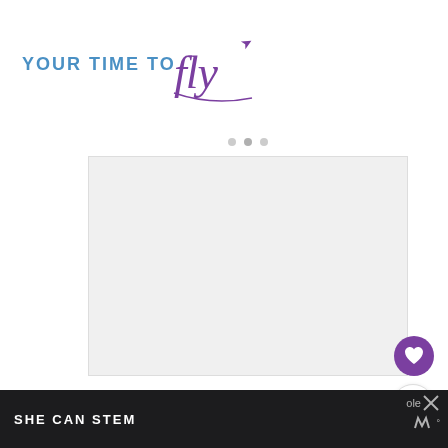[Figure (logo): YOUR TIME TO fly logo with airplane arrow, blue and purple text]
[Figure (photo): Large image placeholder (white/light gray) with three pagination dots above it]
[Figure (other): Purple heart button circle]
[Figure (other): White share button circle with share icon]
Of course, you are certainly not roughing it at Winvian Farm, even
[Figure (photo): WHAT'S NEXT -> 15 Off-the-Beaten-Path... thumbnail with circular photo]
SHE CAN STEM